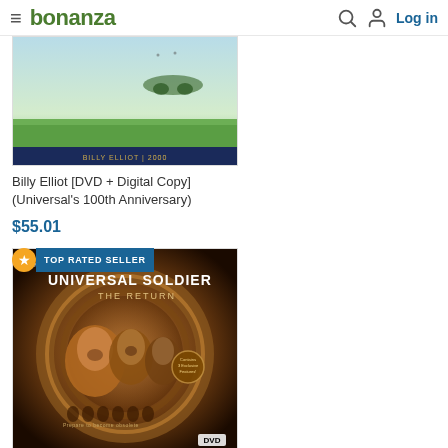bonanza — Log in
[Figure (photo): Billy Elliot DVD cover — sky with bird/frog silhouette, green grass, dark blue bottom strip with 'BILLY ELLIOT | 2000' text]
Billy Elliot [DVD + Digital Copy] (Universal's 100th Anniversary)
$55.01
[Figure (photo): Universal Soldier: The Return DVD cover — three soldiers/characters in dramatic orange-lit circular composition, with 'TOP RATED SELLER' badge overlay]